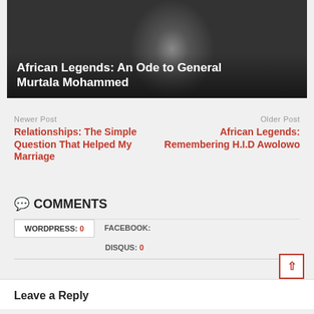[Figure (photo): Black and white photo of a man looking down, with text overlay reading 'African Legends: An Ode to General Murtala Mohammed']
Newer Post
Relationships: The Simple Question That Helped My Marriage
Older Post
African Legends: Remembering H.I.D Awolowo
COMMENTS
| WORDPRESS: 0 | FACEBOOK: | DISQUS: 0 |
| --- | --- | --- |
Leave a Reply